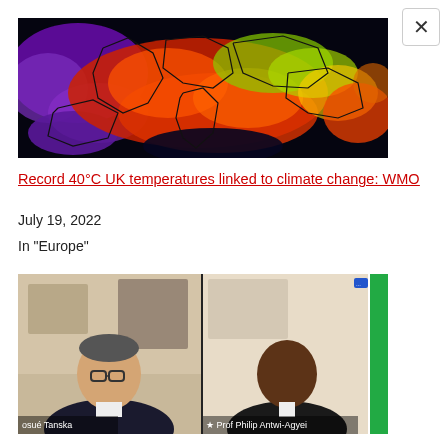[Figure (map): Heat map of Europe showing temperature anomalies in false-color thermal imagery, with dark blues and purples in the northwest and intense reds/oranges across central and southern Europe.]
Record 40°C UK temperatures linked to climate change: WMO
July 19, 2022
In "Europe"
[Figure (photo): Video call screenshot showing two participants: on the left a man with glasses in a dark jacket (labeled Josué Tanska), and on the right a Black man in a dark suit (labeled Prof Philip Antwi-Agyei), with a third participant partially visible on the right edge.]